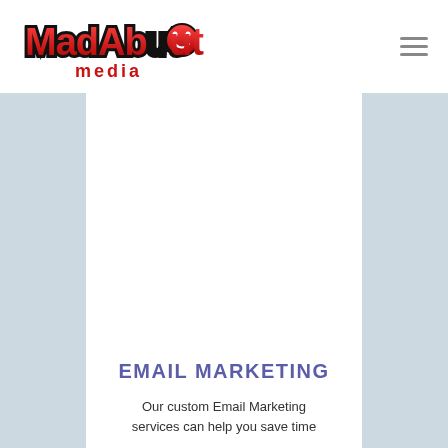[Figure (logo): MadAbout Media logo — stylized red graffiti text 'MadAbout' with cartoon smiley face replacing the 'o', and the word 'media' in red below]
[Figure (other): Hamburger menu icon (three horizontal lines) in the top-right of the header]
EMAIL MARKETING
Our custom Email Marketing services can help you save time